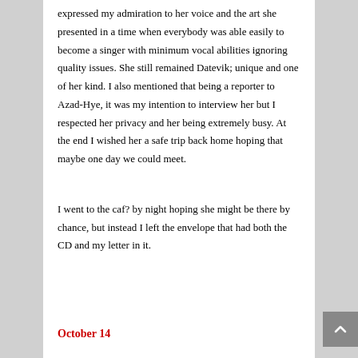expressed my admiration to her voice and the art she presented in a time when everybody was able easily to become a singer with minimum vocal abilities ignoring quality issues. She still remained Datevik; unique and one of her kind. I also mentioned that being a reporter to Azad-Hye, it was my intention to interview her but I respected her privacy and her being extremely busy. At the end I wished her a safe trip back home hoping that maybe one day we could meet.
I went to the caf? by night hoping she might be there by chance, but instead I left the envelope that had both the CD and my letter in it.
October 14